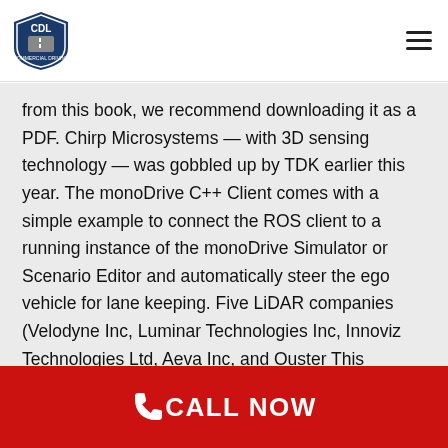CDL logo and navigation menu
from this book, we recommend downloading it as a PDF. Chirp Microsystems — with 3D sensing technology — was gobbled up by TDK earlier this year. The monoDrive C++ Client comes with a simple example to connect the ROS client to a running instance of the monoDrive Simulator or Scenario Editor and automatically steer the ego vehicle for lane keeping. Five LiDAR companies (Velodyne Inc, Luminar Technologies Inc, Innoviz Technologies Ltd, Aeva Inc, and Ouster This technology is a key enabler for highly automated driving thanks to its unique combination of a large detection range, wide field of view and accuracy. Velodyne 64. LiDAR technology has penetrated most of
CALL NOW